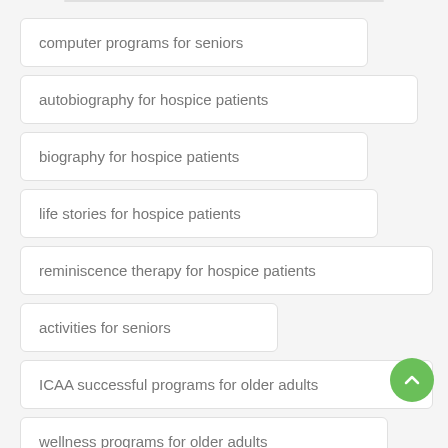computer programs for seniors
autobiography for hospice patients
biography for hospice patients
life stories for hospice patients
reminiscence therapy for hospice patients
activities for seniors
ICAA successful programs for older adults
wellness programs for older adults
financial advisor gifts